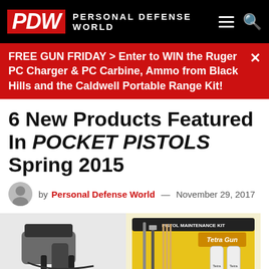PDW PERSONAL DEFENSE WORLD
FREE GUN FRIDAY > Enter to WIN the Ruger PC Charger & PC Carbine, Ammo from Black Hills and the Caldwell Portable Range Kit!
6 New Products Featured In POCKET PISTOLS Spring 2015
by Personal Defense World — November 29, 2017
[Figure (photo): Left: black pistol in a leather/polymer holster with clips. Right: Tetra Gun pistol maintenance kit with cleaning supplies on yellow packaging.]